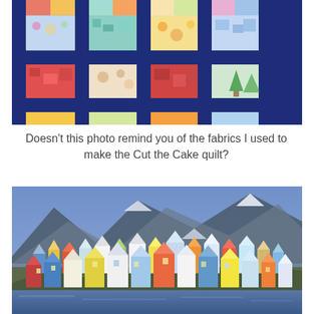[Figure (photo): Close-up photo of a colorful patchwork quilt with blue sashing strips and multicolored fabric squares in floral, geometric, and patterned prints.]
Doesn't this photo remind you of the fabrics I used to make the Cut the Cake quilt?
[Figure (photo): Photo of a colorful Scandinavian village with brightly colored houses clustered on a hillside beside a reflective lake, with snow-capped mountains in the background.]